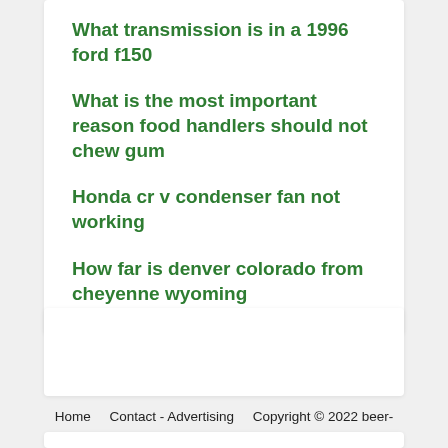What transmission is in a 1996 ford f150
What is the most important reason food handlers should not chew gum
Honda cr v condenser fan not working
How far is denver colorado from cheyenne wyoming
Home    Contact - Advertising    Copyright © 2022 beer-selection.com